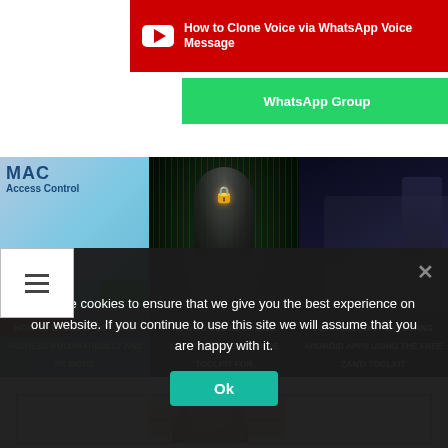[Figure (screenshot): Red YouTube banner with play button icon and text: How to Clone Voice via WhatsApp Voice Message]
How to Clone Voice via WhatsApp Voice Message
WhatsApp Group
[Figure (screenshot): Three image cards: 1) HOW TO EASILY SPOOF MAC ADDRESS AUTOMATICALLY AND BE MORE, 2) HOW TO USE ADVANCED NETWORK INTELLIGENCE TOOLKIT FOR, 3) TUTORIAL FOR PENTESTING ANDROID APPS USING THE FREE ZANTI TOOLKIT]
HOW TO EASILY SPOOF MAC ADDRESS AUTOMATICALLY AND BE MORE
HOW TO USE ADVANCED NETWORK INTELLIGENCE TOOLKIT FOR
TUTORIAL FOR PENTESTING ANDROID APPS USING THE FREE ZANTI TOOLKIT
[Figure (photo): Partial view of a person's face/profile photo inside a blue bordered box]
We use cookies to ensure that we give you the best experience on our website. If you continue to use this site we will assume that you are happy with it.
Ok